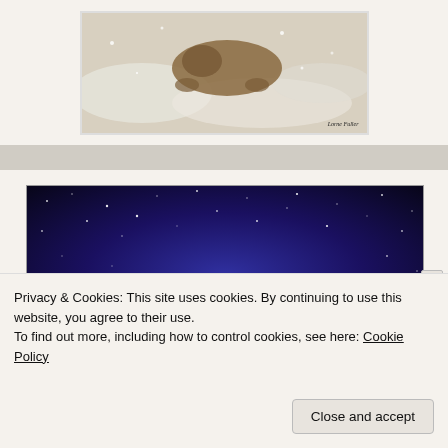[Figure (photo): A dog or cat lying on a snowy or fluffy white surface, photographed by Lorne Fuller]
[Figure (photo): Dark blue starry night sky background with an open glowing book at the bottom and a scripture verse from 2 Timothy 3:16-17 written in white italic text]
Privacy & Cookies: This site uses cookies. By continuing to use this website, you agree to their use.
To find out more, including how to control cookies, see here: Cookie Policy
Close and accept